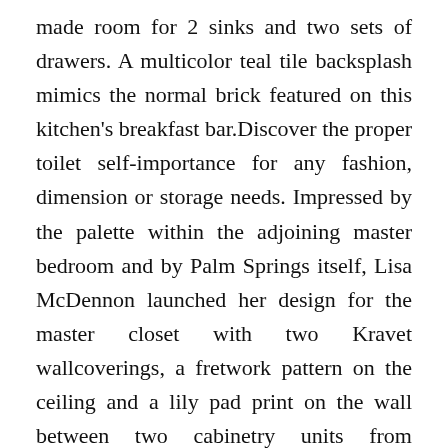made room for 2 sinks and two sets of drawers. A multicolor teal tile backsplash mimics the normal brick featured on this kitchen's breakfast bar.Discover the proper toilet self-importance for any fashion, dimension or storage needs. Impressed by the palette within the adjoining master bedroom and by Palm Springs itself, Lisa McDennon launched her design for the master closet with two Kravet wallcoverings, a fretwork pattern on the ceiling and a lily pad print on the wall between two cabinetry units from California Closets.This luxurious grasp bathroom does just that, with a moist room that expertly pairs textured stacked stone with glossy marble partitions. That is paired with a small square kitchen island that has a white countertop to match the white ceiling. Ornate accents, elaborate finishes and dark walls overwhelm this small sitting-closet space, but it creates a formally other suit